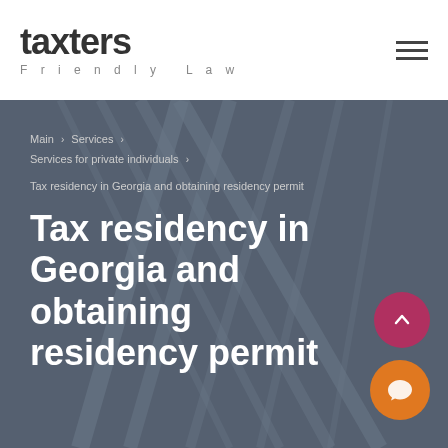[Figure (logo): Taxters Friendly Law logo with bold dark text and grey letterspace tagline]
[Figure (other): Hamburger menu icon with three horizontal lines]
[Figure (photo): Dark grey architectural photo background with intersecting structural beams]
Main > Services > Services for private individuals > Tax residency in Georgia and obtaining residency permit
Tax residency in Georgia and obtaining residency permit
[Figure (other): Red circular scroll-to-top button with upward chevron]
[Figure (other): Orange circular chat button with speech bubble icon]